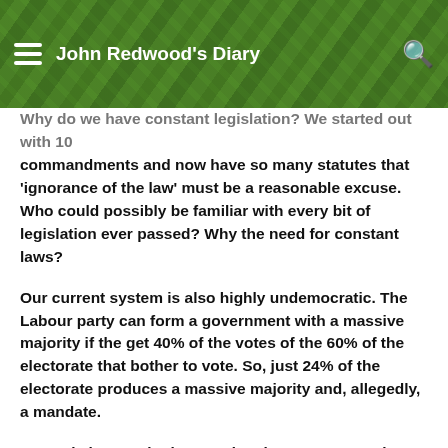John Redwood's Diary
Why do we have constant legislation? We started out with 10 commandments and now have so many statutes that 'ignorance of the law' must be a reasonable excuse. Who could possibly be familiar with every bit of legislation ever passed? Why the need for constant laws?
Our current system is also highly undemocratic. The Labour party can form a government with a massive majority if the get 40% of the votes of the 60% of the electorate that bother to vote. So, just 24% of the electorate produces a massive majority and, allegedly, a mandate.
You only have to look around at the mess we are in at the moment – the debt, the lack of ideas and vision, the lack of strategy, the youth unemployment, the housing market like an